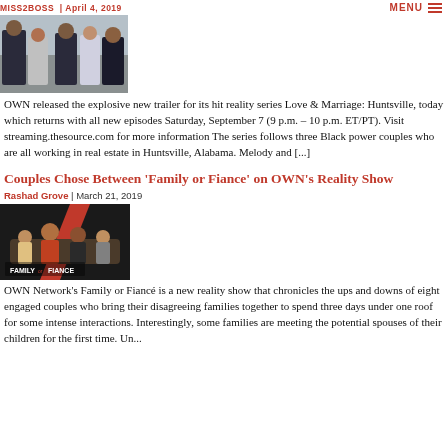MISS2BOSS | April 4, 2019
[Figure (photo): Group photo of people at an event, likely for Love & Marriage: Huntsville show]
OWN released the explosive new trailer for its hit reality series Love & Marriage: Huntsville, today which returns with all new episodes Saturday, September 7 (9 p.m. – 10 p.m. ET/PT). Visit streaming.thesource.com for more information The series follows three Black power couples who are all working in real estate in Huntsville, Alabama. Melody and [...]
Couples Chose Between 'Family or Fiance' on OWN's Reality Show
Rashad Grove | March 21, 2019
[Figure (photo): Promotional image for Family or Fiance show on OWN Network, with show logo visible]
OWN Network's Family or Fiancé is a new reality show that chronicles the ups and downs of eight engaged couples who bring their disagreeing families together to spend three days under one roof for some intense interactions. Interestingly, some families are meeting the potential spouses of their children for the first time. Un...